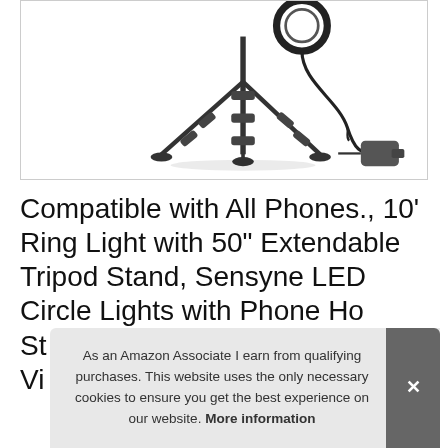[Figure (photo): Product photo of a ring light on an extendable tripod stand with a power adapter cable, shown against a white background with a border]
Compatible with All Phones., 10' Ring Light with 50" Extendable Tripod Stand, Sensyne LED Circle Lights with Phone Ho... St... Vi...
As an Amazon Associate I earn from qualifying purchases. This website uses the only necessary cookies to ensure you get the best experience on our website. More information